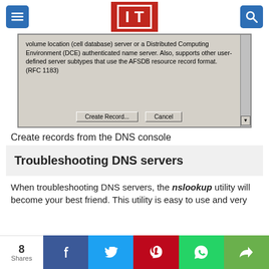IT logo with menu and search buttons
[Figure (screenshot): Windows DNS console dialog showing text about volume location (cell database) server or a Distributed Computing Environment (DCE) authenticated name server. Also, supports other user-defined server subtypes that use the AFSDB resource record format. (RFC 1183). Buttons: Create Record... and Cancel]
Create records from the DNS console
Troubleshooting DNS servers
When troubleshooting DNS servers, the nslookup utility will become your best friend. This utility is easy to use and very